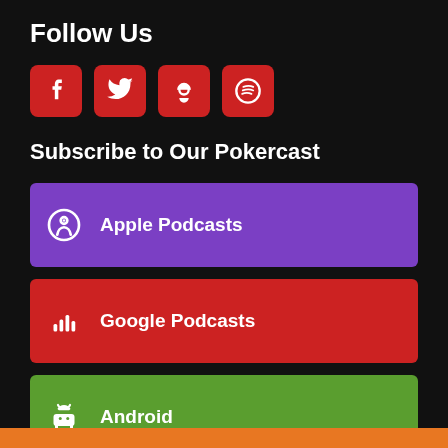Follow Us
[Figure (infographic): Four red rounded-square social media icon buttons: Facebook (f), Twitter (bird), Podcast (microphone), Spotify (circle)]
Subscribe to Our Pokercast
Apple Podcasts
Google Podcasts
Android
by Email